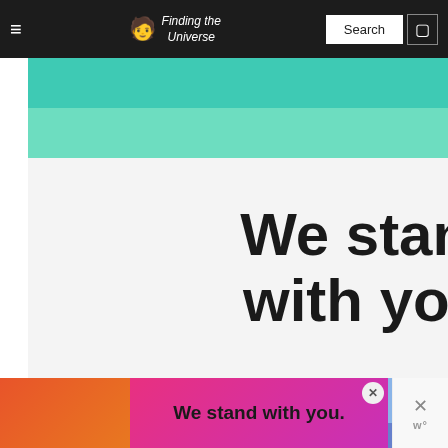Finding the Universe
[Figure (illustration): A pride/solidarity banner with rainbow-like horizontal stripes (teal, light green, white, light blue, blue, indigo, purple) with bold black text reading 'We stand with you.']
Would you change anyth... about the tour?
[Figure (screenshot): What's Next panel showing a thumbnail of UK landscape and text '2 Weeks in the UK – My...']
[Figure (illustration): Bottom ad banner with pride colors and text 'We stand with you.' with close button]